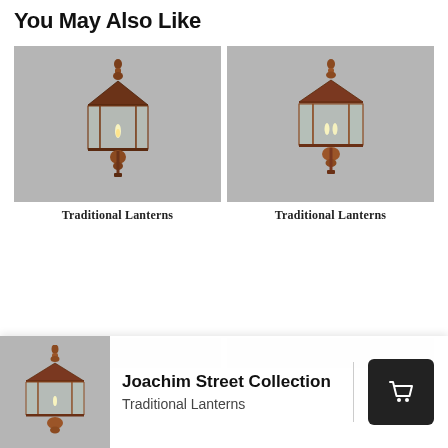You May Also Like
[Figure (photo): Copper traditional wall lantern (left product card) on gray background]
[Figure (photo): Copper traditional wall lantern (right product card) on gray background]
Traditional Lanterns
Traditional Lanterns
[Figure (photo): Small thumbnail of copper lantern in popup bar]
Joachim Street Collection
Traditional Lanterns